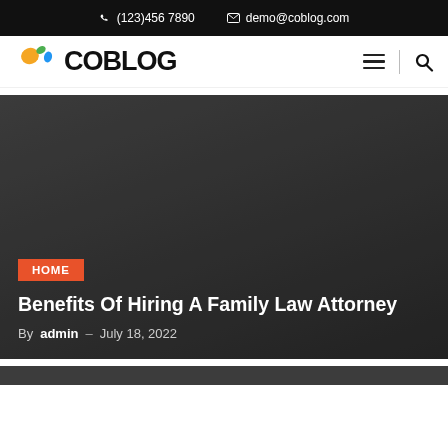(123)456 7890   demo@coblog.com
[Figure (logo): COBLOG logo with colorful splat icon and bold black text, with hamburger menu and search icons on the right]
[Figure (photo): Dark gray hero image with HOME category badge in orange, article title 'Benefits Of Hiring A Family Law Attorney', and byline 'By admin – July 18, 2022']
Benefits Of Hiring A Family Law Attorney
By admin – July 18, 2022